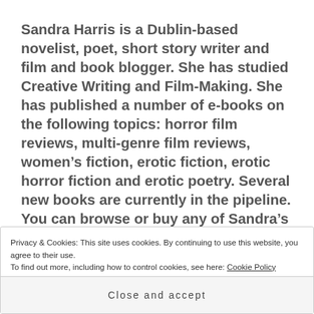Sandra Harris is a Dublin-based novelist, poet, short story writer and film and book blogger. She has studied Creative Writing and Film-Making. She has published a number of e-books on the following topics: horror film reviews, multi-genre film reviews, women's fiction, erotic fiction, erotic horror fiction and erotic poetry. Several new books are currently in the pipeline. You can browse or buy any of Sandra's books by following the link below straight to her Amazon Author Page:
Privacy & Cookies: This site uses cookies. By continuing to use this website, you agree to their use. To find out more, including how to control cookies, see here: Cookie Policy
Close and accept